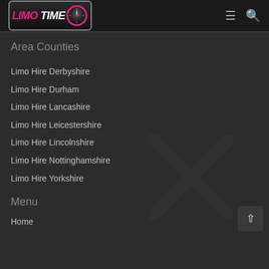LIMO TIME .com
Area Counties
Limo Hire Derbyshire
Limo Hire Durham
Limo Hire Lancashire
Limo Hire Leicestershire
Limo Hire Lincolnshire
Limo Hire Nottinghamshire
Limo Hire Yorkshire
Menu
Home